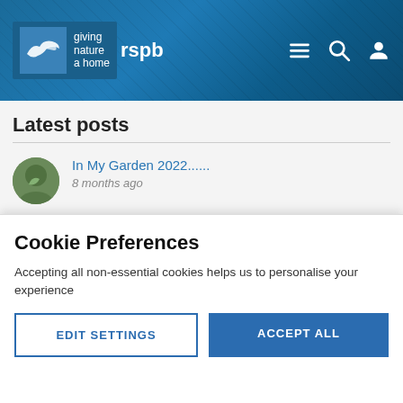[Figure (screenshot): RSPB website header with logo showing a bird silhouette, 'rspb' text, and 'giving nature a home' tagline on a blue textured background. Navigation icons (menu, search, user) on the right.]
Latest posts
In My Garden 2022......
8 months ago
Odds & Sods 2022
8 months ago
Newbie on here
Cookie Preferences
Accepting all non-essential cookies helps us to personalise your experience
EDIT SETTINGS
ACCEPT ALL